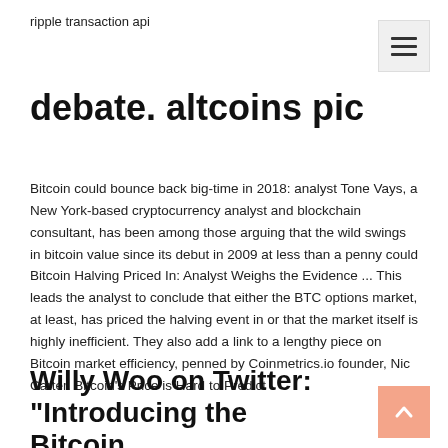ripple transaction api
debate. altcoins pic
Bitcoin could bounce back big-time in 2018: analyst Tone Vays, a New York-based cryptocurrency analyst and blockchain consultant, has been among those arguing that the wild swings in bitcoin value since its debut in 2009 at less than a penny could Bitcoin Halving Priced In: Analyst Weighs the Evidence ... This leads the analyst to conclude that either the BTC options market, at least, has priced the halving event in or that the market itself is highly inefficient. They also add a link to a lengthy piece on Bitcoin market efficiency, penned by Coinmetrics.io founder, Nic Carter. Bitcoin's Price is Hard to Predict
Willy Woo on Twitter: "Introducing the Bitcoin